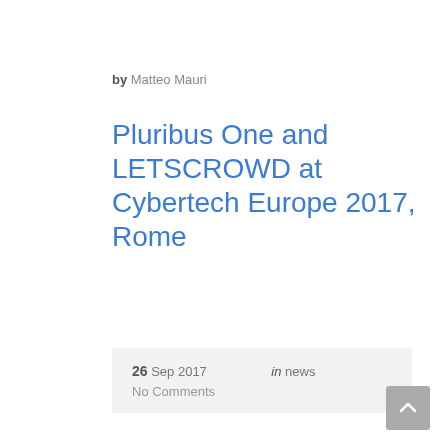by Matteo Mauri
Pluribus One and LETSCROWD at Cybertech Europe 2017, Rome
26 Sep 2017   in news
No Comments
Since 2014, Cybertech has served as the global meeting place for exchanging ideas, networking and business-to-business opportunities for players across the field of Cybersecurity, with large-scale and boutique events across the world.